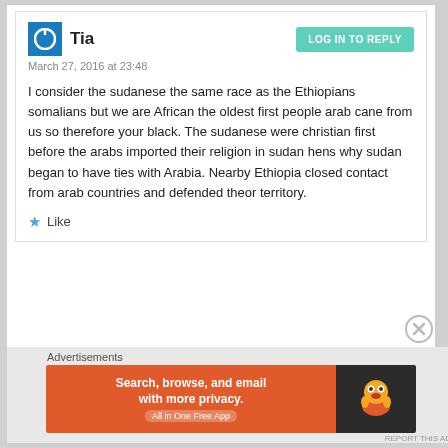Tia
March 27, 2016 at 23:48
I consider the sudanese the same race as the Ethiopians somalians but we are African the oldest first people arab cane from us so therefore your black. The sudanese were christian first before the arabs imported their religion in sudan hens why sudan began to have ties with Arabia. Nearby Ethiopia closed contact from arab countries and defended theor territory.
Like
Advertisements
Search, browse, and email with more privacy. All in One Free App